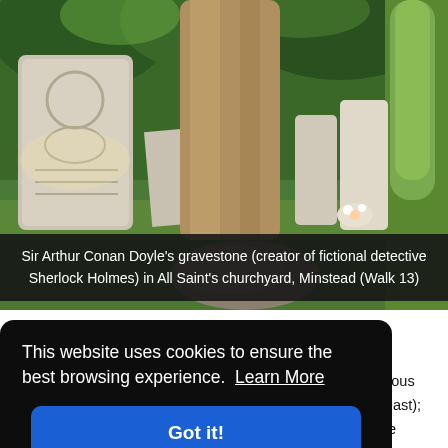[Figure (photo): Photograph of a churchyard with gravestones, a large tree trunk in the center, green grass, and a pipe resting at the base of the tree. A cypress hedge is on the right. There is a flower arrangement near one grave on the right side.]
Sir Arthur Conan Doyle's gravestone (creator of fictional detective Sherlock Holmes) in All Saint's churchyard, Minstead (Walk 13)
This website uses cookies to ensure the best browsing experience.  Learn More
Got it!
is
gious
(east);
ee
rthur
(south). The churchyard is the resting place of Sir Arthur Conan Doyle, the creator of Sherlock Holmes...